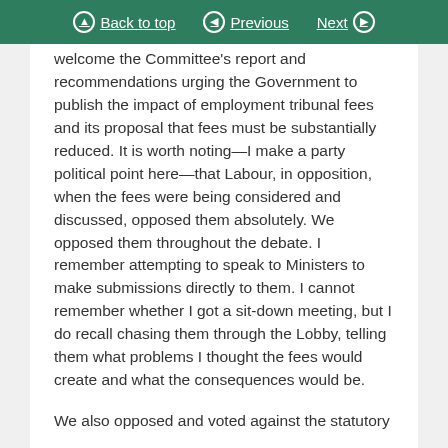Back to top | Previous | Next
welcome the Committee's report and recommendations urging the Government to publish the impact of employment tribunal fees and its proposal that fees must be substantially reduced. It is worth noting—I make a party political point here—that Labour, in opposition, when the fees were being considered and discussed, opposed them absolutely. We opposed them throughout the debate. I remember attempting to speak to Ministers to make submissions directly to them. I cannot remember whether I got a sit-down meeting, but I do recall chasing them through the Lobby, telling them what problems I thought the fees would create and what the consequences would be.

We also opposed and voted against the statutory